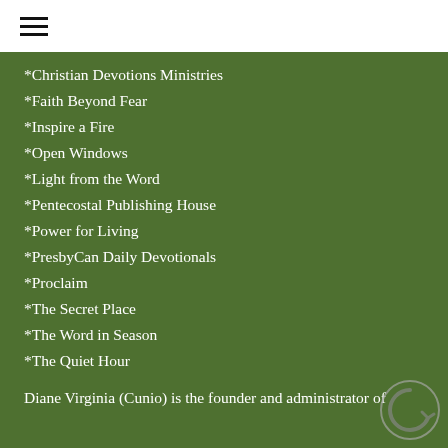≡
*Christian Devotions Ministries
*Faith Beyond Fear
*Inspire a Fire
*Open Windows
*Light from the Word
*Pentecostal Publishing House
*Power for Living
*PresbyCan Daily Devotionals
*Proclaim
*The Secret Place
*The Word in Season
*The Quiet Hour
Diane Virginia (Cunio) is the founder and administrator of